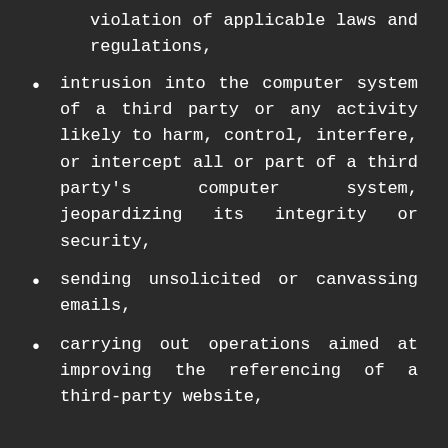violation of applicable laws and regulations,
intrusion into the computer system of a third party or any activity likely to harm, control, interfere, or intercept all or part of a third party's computer system, jeopardizing its integrity or security,
sending unsolicited or canvassing emails,
carrying out operations aimed at improving the referencing of a third-party website,